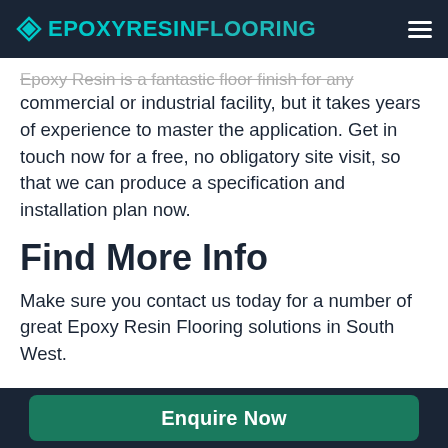EPOXYRESINFLOORING
Epoxy Resin is a fantastic floor finish for any commercial or industrial facility, but it takes years of experience to master the application. Get in touch now for a free, no obligatory site visit, so that we can produce a specification and installation plan now.
Find More Info
Make sure you contact us today for a number of great Epoxy Resin Flooring solutions in South West.
Here are some towns we cover near Axminster.
Enquire Now